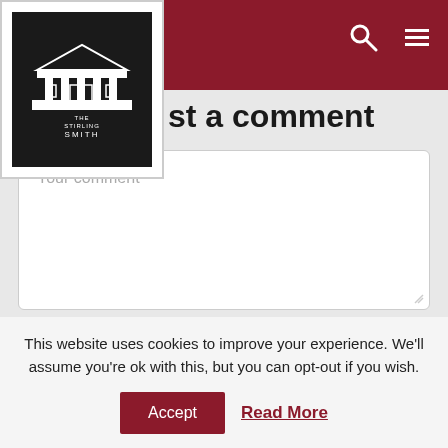The Stirling Smith — post a comment
Your comment
Your name
Your email
This website uses cookies to improve your experience. We'll assume you're ok with this, but you can opt-out if you wish.